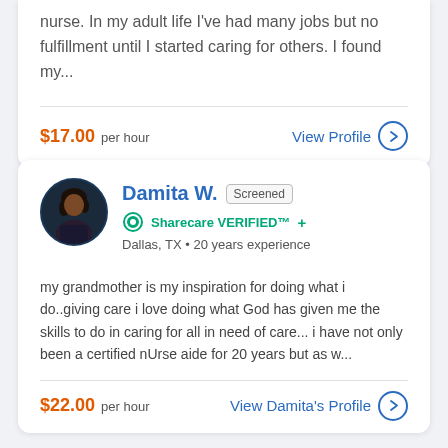nurse. In my adult life I've had many jobs but no fulfillment until I started caring for others. I found my...
$17.00 per hour
View Profile →
Damita W. Screened
Sharecare VERIFIED™ +
Dallas, TX • 20 years experience
my grandmother is my inspiration for doing what i do..giving care i love doing what God has given me the skills to do in caring for all in need of care... i have not only been a certified nUrse aide for 20 years but as w...
$22.00 per hour
View Damita's Profile →